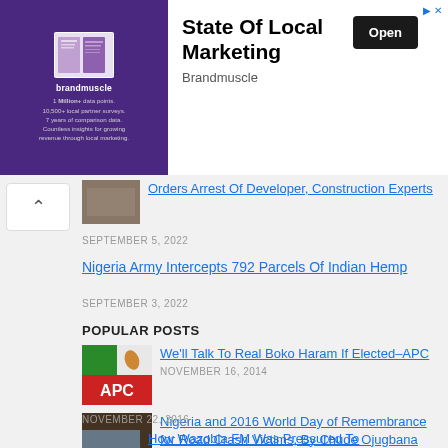[Figure (screenshot): Brandmuscle advertisement banner for 'State Of Local Marketing'. Left side has purple background with Brandmuscle logo and marketing stats text. Right side shows ad title, Brandmuscle brand name, and Open button.]
Orders Arrest Of Developer, Construction Experts
SEPTEMBER 5, 2022
Nigeria Army Intercepts 792 Parcels Of Indian Hemp
SEPTEMBER 3, 2022
POPULAR POSTS
We'll Talk To Real Boko Haram If Elected–APC
NOVEMBER 16, 2014
Nigeria and 2016 World Day of Remembrance for Road Crash Victims, By Chude Ojugbana
NOVEMBER 22, 2016
How Wazobia FM Was Pressured To